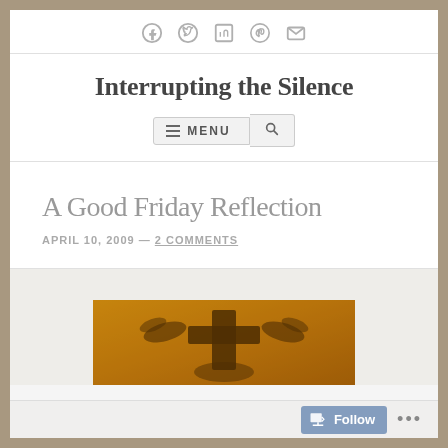Social share icons: Facebook, Twitter, LinkedIn, Pinterest, Email
Interrupting the Silence
[Figure (screenshot): Menu button with hamburger icon and MENU text, and a search icon button]
A Good Friday Reflection
APRIL 10, 2009 — 2 COMMENTS
[Figure (photo): Partial view of a decorative religious artwork with orange/amber tones featuring a cross and bird/angel motifs]
Follow ...